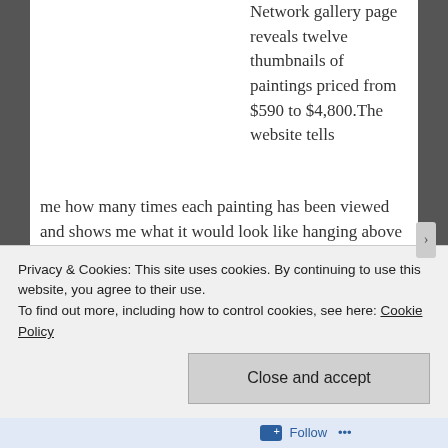Network gallery page reveals twelve thumbnails of paintings priced from $590 to $4,800.The website tells me how many times each painting has been viewed and shows me what it would look like hanging above a leather chair. I even learn that Bahn has sold 29 works from $430-$3,225, that his abstract works are drawn from nature, and that he studies under Dale Chisman.
Artwork Network helped make Bahn visible to Mike
Privacy & Cookies: This site uses cookies. By continuing to use this website, you agree to their use.
To find out more, including how to control cookies, see here: Cookie Policy
Close and accept
Follow